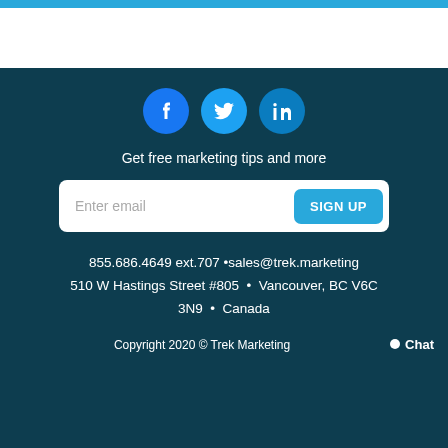[Figure (illustration): Blue top bar stripe]
[Figure (illustration): Social media icons: Facebook, Twitter, LinkedIn as blue circles]
Get free marketing tips and more
[Figure (other): Email sign up form with Enter email placeholder and SIGN UP button]
855.686.4649 ext.707 •sales@trek.marketing 510 W Hastings Street #805 • Vancouver, BC V6C 3N9 • Canada
Copyright 2020 © Trek Marketing
Chat